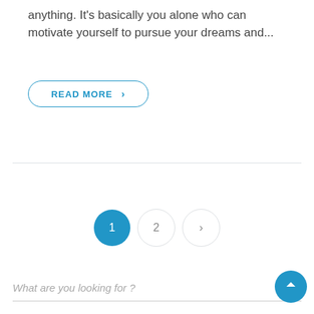anything. It's basically you alone who can motivate yourself to pursue your dreams and...
READ MORE >
1  2  >
What are you looking for ?